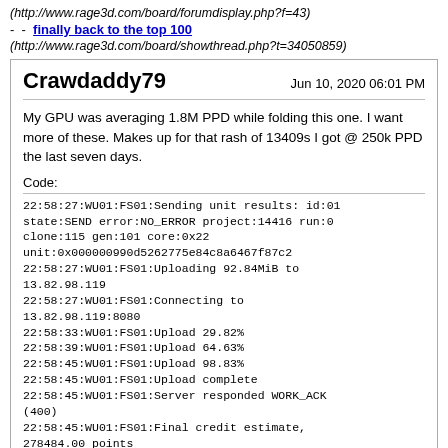(http://www.rage3d.com/board/forumdisplay.php?f=43)
- - finally back to the top 100
(http://www.rage3d.com/board/showthread.php?t=34050859)
Crawdaddy79
Jun 10, 2020 06:01 PM
My GPU was averaging 1.8M PPD while folding this one. I want more of these. Makes up for that rash of 13409s I got @ 250k PPD the last seven days.
Code:
22:58:27:WU01:FS01:Sending unit results: id:01
state:SEND error:NO_ERROR project:14416 run:0
clone:115 gen:101 core:0x22
unit:0x000000990d5262775e84c8a6467f87c2
22:58:27:WU01:FS01:Uploading 92.84MiB to
13.82.98.119
22:58:27:WU01:FS01:Connecting to
13.82.98.119:8080
22:58:33:WU01:FS01:Upload 29.82%
22:58:39:WU01:FS01:Upload 64.63%
22:58:45:WU01:FS01:Upload 98.83%
22:58:45:WU01:FS01:Upload complete
22:58:45:WU01:FS01:Server responded WORK_ACK
(400)
22:58:45:WU01:FS01:Final credit estimate,
278484.00 points
22:58:45:WU01:FS01:Cleaning up